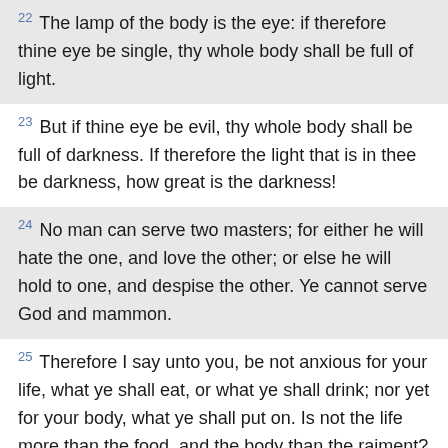22 The lamp of the body is the eye: if therefore thine eye be single, thy whole body shall be full of light.
23 But if thine eye be evil, thy whole body shall be full of darkness. If therefore the light that is in thee be darkness, how great is the darkness!
24 No man can serve two masters; for either he will hate the one, and love the other; or else he will hold to one, and despise the other. Ye cannot serve God and mammon.
25 Therefore I say unto you, be not anxious for your life, what ye shall eat, or what ye shall drink; nor yet for your body, what ye shall put on. Is not the life more than the food, and the body than the raiment?
26 Behold the birds of the heaven, that they sow not, neither do they reap, nor gather into barns; and your heavenly Father